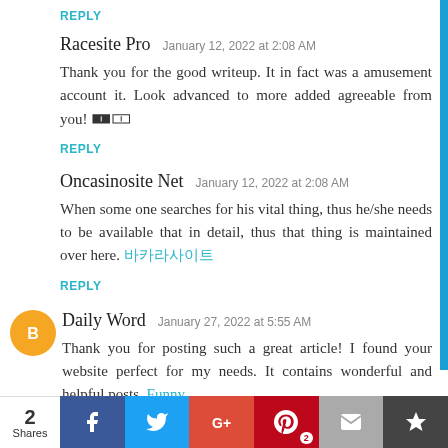REPLY
Racesite Pro  January 12, 2022 at 2:08 AM
Thank you for the good writeup. It in fact was a amusement account it. Look advanced to more added agreeable from you! 🀰🀱
REPLY
Oncasinosite Net  January 12, 2022 at 2:08 AM
When some one searches for his vital thing, thus he/she needs to be available that in detail, thus that thing is maintained over here. 바카라사이트
REPLY
Daily Word  January 27, 2022 at 5:55 AM
Thank you for posting such a great article! I found your website perfect for my needs. It contains wonderful and helpful posts. Funny
[Figure (infographic): Social share bar with 2 Shares count, Facebook, Twitter, Google+, Pinterest (badge: 2), Email, and crown icon buttons]